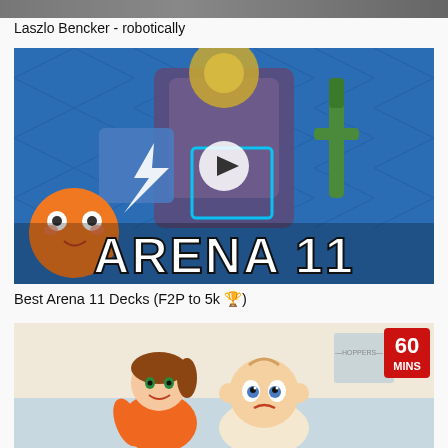[Figure (screenshot): Partial top image strip, dark/grey, cropped top of a video thumbnail]
Laszlo Bencker - robotically
[Figure (screenshot): Video thumbnail for 'Best Arena 11 Decks (F2P to 5k)' — Clash Royale Arena 11 game art with large text ARENA 11 and a play button overlay]
Best Arena 11 Decks (F2P to 5k 🏆)
[Figure (screenshot): Video thumbnail showing animated characters — a girl and a baby, with a red badge showing '60 MINS' in the top right corner]